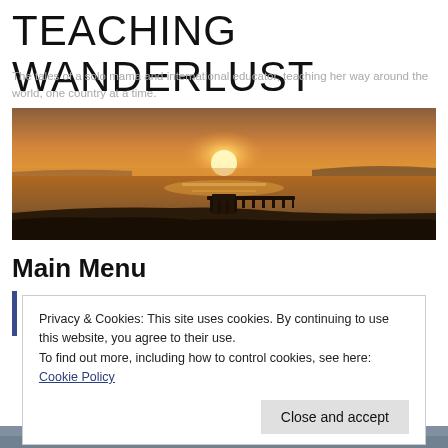TEACHING WANDERLUST
The tales of a solo mama and international educator, teaching her way around the world, one country at a time.
[Figure (photo): Sunset over water with a pier/dock silhouetted in the foreground, orange and purple sky reflected on calm water.]
Main Menu
Privacy & Cookies: This site uses cookies. By continuing to use this website, you agree to their use.
To find out more, including how to control cookies, see here: Cookie Policy
Close and accept